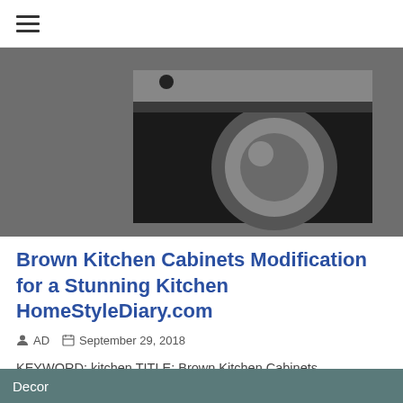≡
[Figure (photo): Placeholder image with a camera icon on a dark gray background]
Brown Kitchen Cabinets Modification for a Stunning Kitchen HomeStyleDiary.com
AD   September 29, 2018
KEYWORD: kitchen TITLE: Brown Kitchen Cabinets Modification for a Stunning Kitchen HomeStyleDiary.com Related Images with Brown Kitchen Cab...
Decor